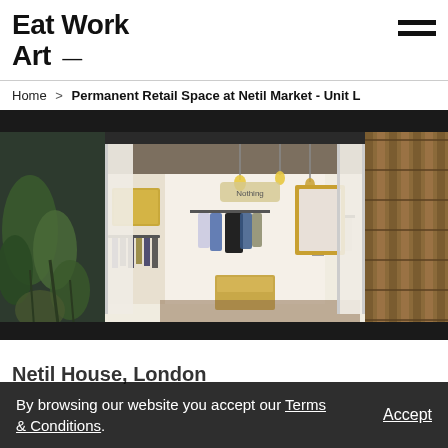Eat Work Art
Home > Permanent Retail Space at Netil Market - Unit L
[Figure (photo): Interior view of a small retail shop unit with clothing hanging on racks, wooden display boxes, pendant lights, and plants visible outside the open doors.]
Netil House, London
By browsing our website you accept our Terms & Conditions.